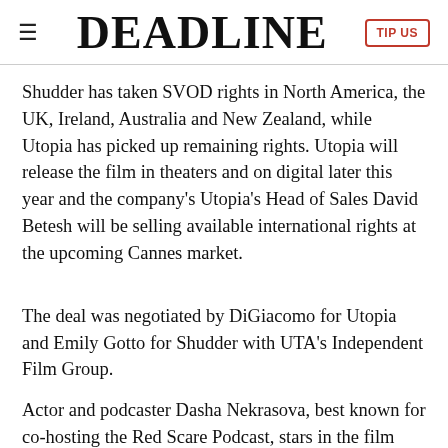DEADLINE
Shudder has taken SVOD rights in North America, the UK, Ireland, Australia and New Zealand, while Utopia has picked up remaining rights. Utopia will release the film in theaters and on digital later this year and the company's Utopia's Head of Sales David Betesh will be selling available international rights at the upcoming Cannes market.
The deal was negotiated by DiGiacomo for Utopia and Emily Gotto for Shudder with UTA's Independent Film Group.
Actor and podcaster Dasha Nekrasova, best known for co-hosting the Red Scare Podcast, stars in the film with Betsey Brown, Madeline Quinn and Mark Rapaport.